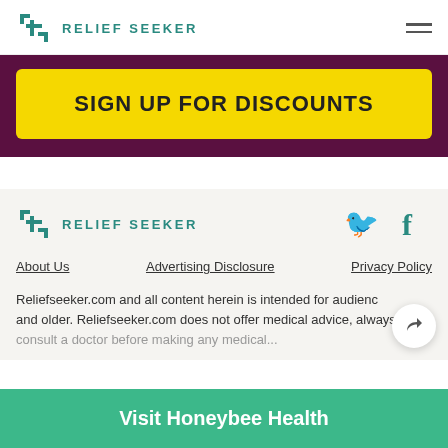RELIEF SEEKER
[Figure (other): Yellow button on purple background with text SIGN UP FOR DISCOUNTS]
[Figure (logo): Relief Seeker logo with Twitter and Facebook social icons in footer]
About Us    Advertising Disclosure    Privacy Policy
Reliefseeker.com and all content herein is intended for audienc and older. Reliefseeker.com does not offer medical advice, always consult a doctor before making any medical...
Visit Honeybee Health